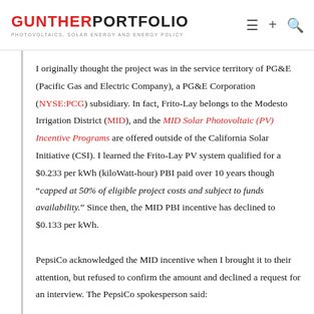GUNTHER PORTFOLIO — PHOTOVOLTAICS, SOLAR ENERGY AND ENERGY POLICY
I originally thought the project was in the service territory of PG&E (Pacific Gas and Electric Company), a PG&E Corporation (NYSE:PCG) subsidiary. In fact, Frito-Lay belongs to the Modesto Irrigation District (MID), and the MID Solar Photovoltaic (PV) Incentive Programs are offered outside of the California Solar Initiative (CSI). I learned the Frito-Lay PV system qualified for a $0.233 per kWh (kiloWatt-hour) PBI paid over 10 years though "capped at 50% of eligible project costs and subject to funds availability." Since then, the MID PBI incentive has declined to $0.133 per kWh.

PepsiCo acknowledged the MID incentive when I brought it to their attention, but refused to confirm the amount and declined a request for an interview. The PepsiCo spokesperson said: